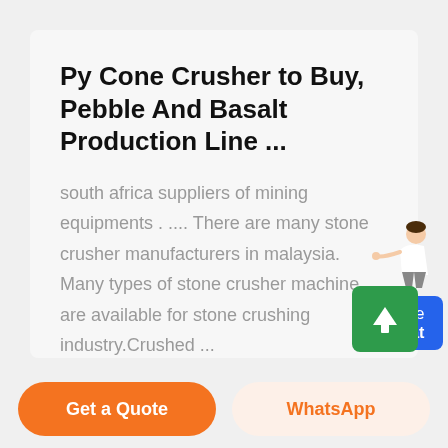Py Cone Crusher to Buy, Pebble And Basalt Production Line ...
south africa suppliers of mining equipments . .... There are many stone crusher manufacturers in malaysia. Many types of stone crusher machine are available for stone crushing industry.Crushed ...
[Figure (illustration): Chat widget showing a woman pointing and a blue 'Free chat' button]
[Figure (other): Green scroll-to-top button with upward arrow]
Get a Quote
WhatsApp